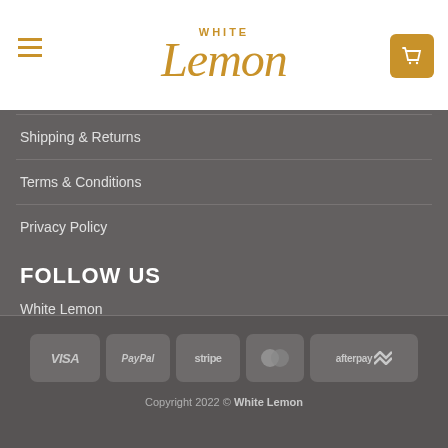[Figure (logo): White Lemon logo with golden cursive text]
Shipping & Returns
Terms & Conditions
Privacy Policy
FOLLOW US
White Lemon
[Figure (infographic): Payment method badges: VISA, PayPal, stripe, MasterCard, afterpay]
Copyright 2022 © White Lemon